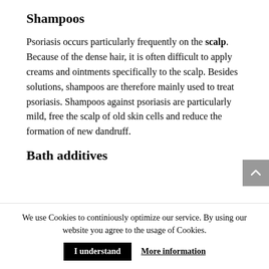Shampoos
Psoriasis occurs particularly frequently on the scalp. Because of the dense hair, it is often difficult to apply creams and ointments specifically to the scalp. Besides solutions, shampoos are therefore mainly used to treat psoriasis. Shampoos against psoriasis are particularly mild, free the scalp of old skin cells and reduce the formation of new dandruff.
Bath additives
We use Cookies to continiously optimize our service. By using our website you agree to the usage of Cookies.